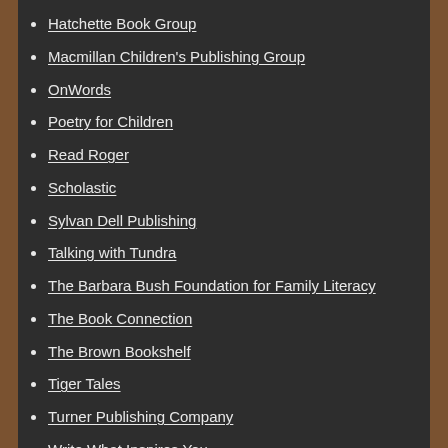Hatchette Book Group
Macmillan Children's Publishing Group
OnWords
Poetry for Children
Read Roger
Scholastic
Sylvan Dell Publishing
Talking with Tundra
The Barbara Bush Foundation for Family Literacy
The Book Connection
The Brown Bookshelf
Tiger Tales
Turner Publishing Company
Write What Inspires You